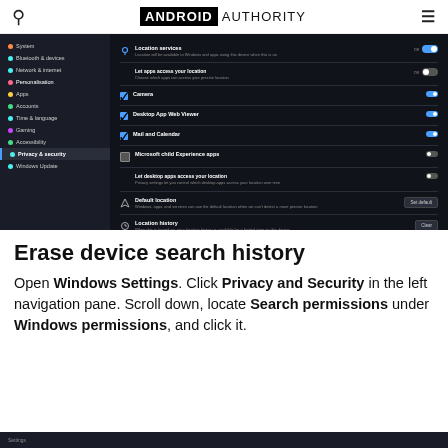Android Authority
[Figure (screenshot): Windows Settings screenshot showing Privacy & security panel with Location services settings. Left sidebar shows navigation items: System, Bluetooth & devices, Network & internet, Personalisation, Apps, Accounts, Time & language, Gaming, Accessibility, Privacy & security (highlighted), Windows Update. Main panel shows location permission toggles for various apps and options for Default location and Location history.]
Erase device search history
Open Windows Settings. Click Privacy and Security in the left navigation pane. Scroll down, locate Search permissions under Windows permissions, and click it.
Settings